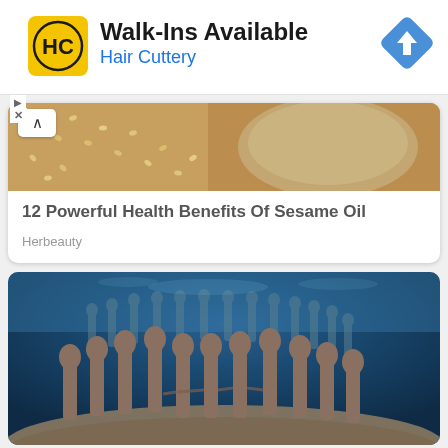[Figure (screenshot): Advertisement banner for Hair Cuttery showing logo, 'Walk-Ins Available' text, blue navigation diamond icon]
[Figure (photo): Partial photo of sesame seeds and a bowl on a wooden surface with up-arrow button overlay]
12 Powerful Health Benefits Of Sesame Oil
Herbeauty
[Figure (photo): Underwater sculpture installation showing circle of human figures standing on sandy ocean floor, blue water background]